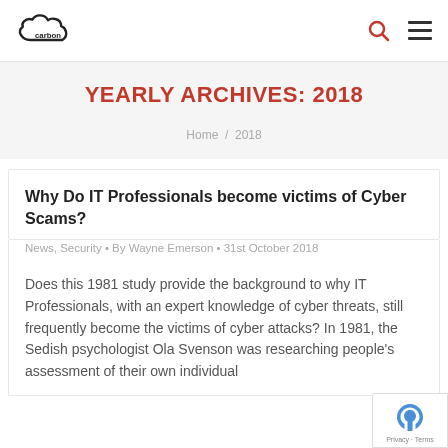carbon [logo] / search / menu
YEARLY ARCHIVES: 2018
Home / 2018
Why Do IT Professionals become victims of Cyber Scams?
News, Security • By Wayne Emerson • 31st October 2018
Does this 1981 study provide the background to why IT Professionals, with an expert knowledge of cyber threats, still frequently become the victims of cyber attacks? In 1981, the Sedish psychologist Ola Svenson was researching people's assessment of their own individual